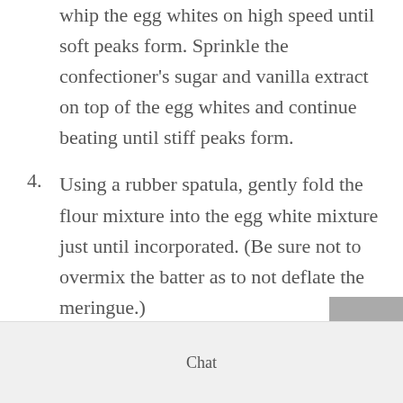whip the egg whites on high speed until soft peaks form. Sprinkle the confectioner's sugar and vanilla extract on top of the egg whites and continue beating until stiff peaks form.
4. Using a rubber spatula, gently fold the flour mixture into the egg white mixture just until incorporated. (Be sure not to overmix the batter as to not deflate the meringue.)
5. Gently pour the batter into the prepared cake pans, evenly dividing the batter among the five pans. Sprinkle the sliced
Chat